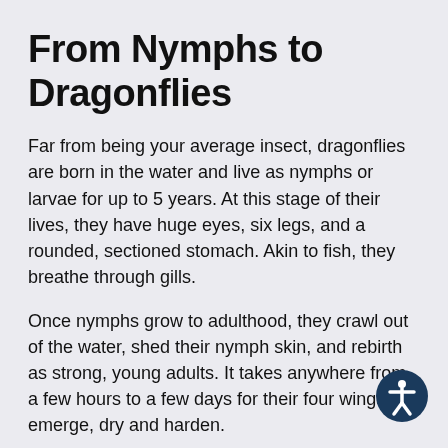From Nymphs to Dragonflies
Far from being your average insect, dragonflies are born in the water and live as nymphs or larvae for up to 5 years. At this stage of their lives, they have huge eyes, six legs, and a rounded, sectioned stomach. Akin to fish, they breathe through gills.
Once nymphs grow to adulthood, they crawl out of the water, shed their nymph skin, and rebirth as strong, young adults. It takes anywhere from a few hours to a few days for their four wings to emerge, dry and harden.
The time before their wings emerge is considered the “teneral” stage, which means “delicate and